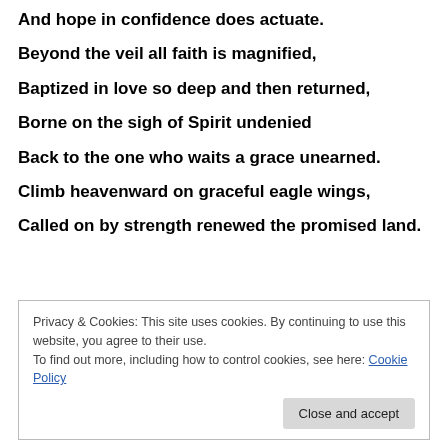And hope in confidence does actuate.
Beyond the veil all faith is magnified,
Baptized in love so deep and then returned,
Borne on the sigh of Spirit undenied
Back to the one who waits a grace unearned.
Climb heavenward on graceful eagle wings,
Called on by strength renewed the promised land.
Privacy & Cookies: This site uses cookies. By continuing to use this website, you agree to their use. To find out more, including how to control cookies, see here: Cookie Policy